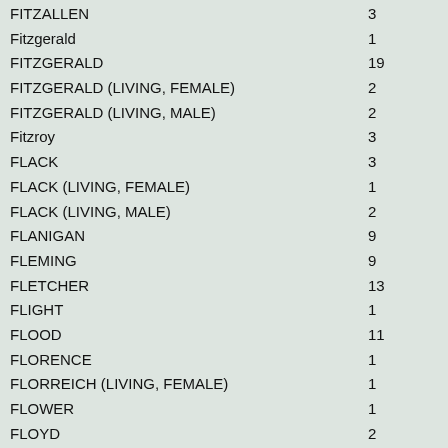| Name | Count |
| --- | --- |
| FITZALLEN | 3 |
| Fitzgerald | 1 |
| FITZGERALD | 19 |
| FITZGERALD (LIVING, FEMALE) | 2 |
| FITZGERALD (LIVING, MALE) | 2 |
| Fitzroy | 3 |
| FLACK | 3 |
| FLACK (LIVING, FEMALE) | 1 |
| FLACK (LIVING, MALE) | 2 |
| FLANIGAN | 9 |
| FLEMING | 9 |
| FLETCHER | 13 |
| FLIGHT | 1 |
| FLOOD | 11 |
| FLORENCE | 1 |
| FLORREICH (LIVING, FEMALE) | 1 |
| FLOWER | 1 |
| FLOYD | 2 |
| FLYNN | 3 |
| FOGARTY | 1 |
| FOLEY | 1 |
| FOLKES | 1 |